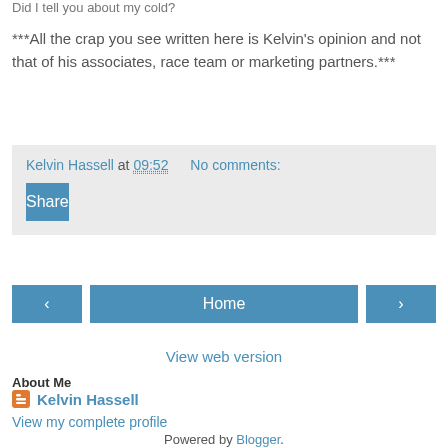Did I tell you about my cold?
***All the crap you see written here is Kelvin's opinion and not that of his associates, race team or marketing partners.***
Kelvin Hassell at 09:52   No comments:
Share
Home
View web version
About Me
Kelvin Hassell
View my complete profile
Powered by Blogger.